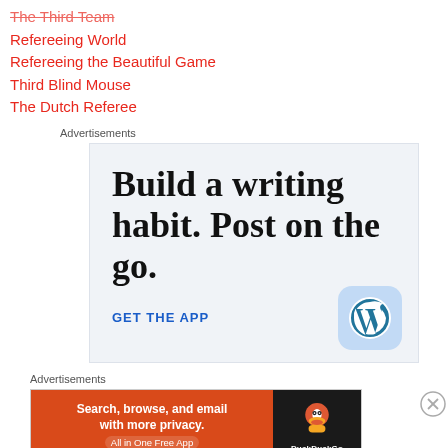The Third Team
Refereeing World
Refereeing the Beautiful Game
Third Blind Mouse
The Dutch Referee
Advertisements
[Figure (infographic): WordPress app advertisement: 'Build a writing habit. Post on the go. GET THE APP' with WordPress logo icon]
Advertisements
[Figure (infographic): DuckDuckGo advertisement: 'Search, browse, and email with more privacy. All in One Free App' with DuckDuckGo logo]